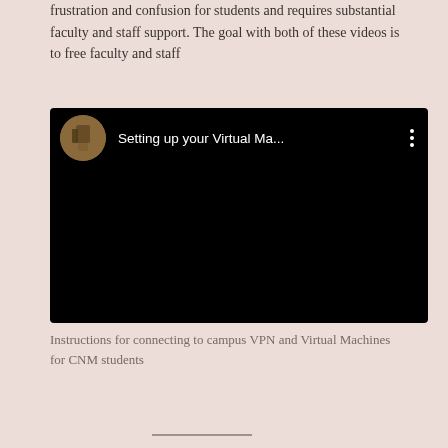frustration and confusion for students and requires substantial faculty and staff support. The goal with both of these videos is to free faculty and staff
[Figure (screenshot): YouTube video thumbnail showing a dark/black video player with a circular avatar and the title 'Setting up your Virtual Ma...' with a three-dot menu icon]
Instructions for connecting to campus VPN and Virtual Machines for CNM students